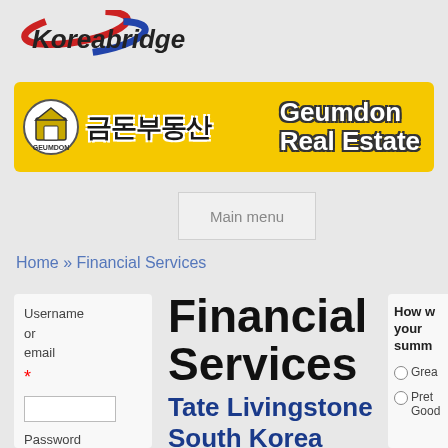[Figure (logo): Koreabridge logo with Korean flag-inspired swoosh design, text 'Koreabridge' in italic]
[Figure (logo): Geumdon Real Estate banner in yellow with Korean text '금돈부동산' and English 'Geumdon Real Estate']
Main menu
Home » Financial Services
Financial Services
Username or email *
Password
Tate Livingstone South Korea
How would you rate your summer? Great Pretty Good